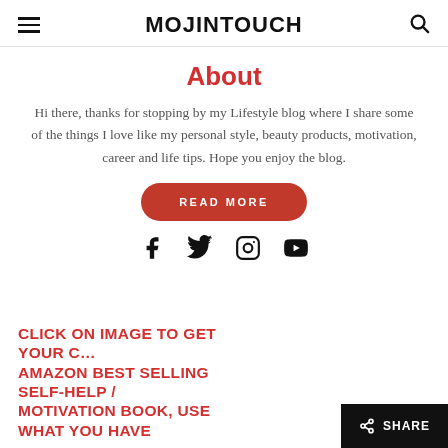MOJINTOUCH
About
Hi there, thanks for stopping by my Lifestyle blog where I share some of the things I love like my personal style, beauty products, motivation, career and life tips. Hope you enjoy the blog.
READ MORE
[Figure (infographic): Social media icons: Facebook, Twitter, Instagram, YouTube]
CLICK ON IMAGE TO GET YOUR COPY AMAZON BEST SELLING SELF-HELP / MOTIVATION BOOK, USE WHAT YOU HAVE
SHARE